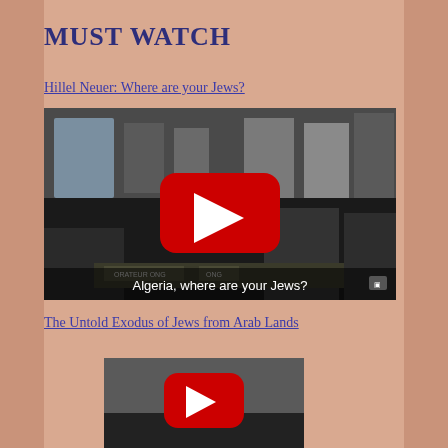MUST WATCH
Hillel Neuer: Where are your Jews?
[Figure (screenshot): YouTube video thumbnail showing a UN session with people seated at a conference table. Text overlay reads 'Algeria, where are your Jews?' with a red YouTube play button in the center.]
The Untold Exodus of Jews from Arab Lands
[Figure (screenshot): Partial YouTube video player showing a red play button, cropped at the bottom of the page.]